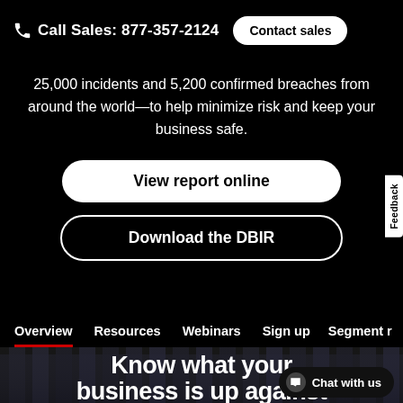Call Sales: 877-357-2124  Contact sales
25,000 incidents and 5,200 confirmed breaches from around the world—to help minimize risk and keep your business safe.
View report online
Download the DBIR
Overview  Resources  Webinars  Sign up  Segment r
Know what your business is up against
Chat with us